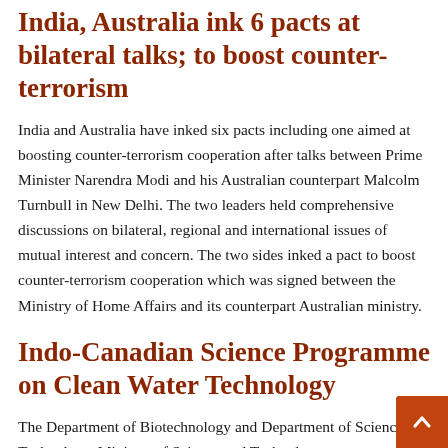India, Australia ink 6 pacts at bilateral talks; to boost counter-terrorism
India and Australia have inked six pacts including one aimed at boosting counter-terrorism cooperation after talks between Prime Minister Narendra Modi and his Australian counterpart Malcolm Turnbull in New Delhi. The two leaders held comprehensive discussions on bilateral, regional and international issues of mutual interest and concern. The two sides inked a pact to boost counter-terrorism cooperation which was signed between the Ministry of Home Affairs and its counterpart Australian ministry.
Indo-Canadian Science Programme on Clean Water Technology
The Department of Biotechnology and Department of Science and Technology, Ministry of Science and Technology are collaborating with The India-Canada Centre for Innovation Multidisciplinary Partnerships to Accelerate Community Transformation and Sustainability (IC-IMPACTS), to promote multidisciplinary research partnerships. Five projects addressing the issue of Clean Water